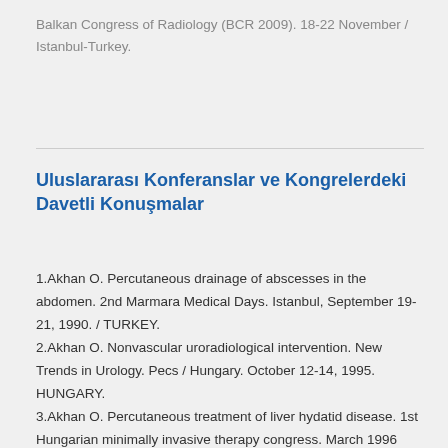Balkan Congress of Radiology (BCR 2009). 18-22 November / Istanbul-Turkey.
Uluslararası Konferanslar ve Kongrelerdeki Davetli Konuşmalar
1.Akhan O. Percutaneous drainage of abscesses in the abdomen. 2nd Marmara Medical Days. Istanbul, September 19-21, 1990. / TURKEY.
2.Akhan O. Nonvascular uroradiological intervention. New Trends in Urology. Pecs / Hungary. October 12-14, 1995. HUNGARY.
3.Akhan O. Percutaneous treatment of liver hydatid disease. 1st Hungarian minimally invasive therapy congress. March 1996 HUNGARY.
4.Akhan O. Malignant biliary obstruction : treatment with self expandable metallic stents. 1st Hungarian minimally invasive therapy congress. March